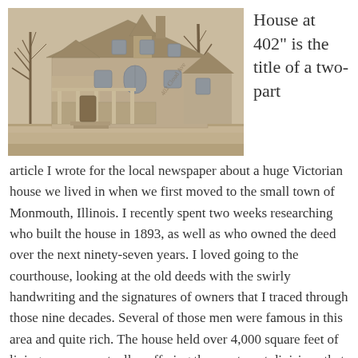[Figure (photo): Sepia-toned historical photograph of a large Victorian house, two stories, with a porch and ornate architectural details, bare trees in foreground, taken in winter or late fall.]
House at 402" is the title of a two-part article I wrote for the local newspaper about a huge Victorian house we lived in when we first moved to the small town of Monmouth, Illinois. I recently spent two weeks researching who built the house in 1893, as well as who owned the deed over the next ninety-seven years. I loved going to the courthouse, looking at the old deeds with the swirly handwriting and the signatures of owners that I traced through those nine decades. Several of those men were famous in this area and quite rich. The house held over 4,000 square feet of living space, eventually suffering the apartment divisions that are the fates of many huge old houses. Finally, it was razed in 1990, its cost too much to support the rafters